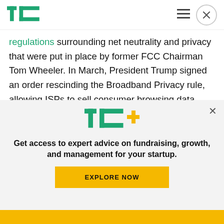TechCrunch
regulations surrounding net neutrality and privacy that were put in place by former FCC Chairman Tom Wheeler. In March, President Trump signed an order rescinding the Broadband Privacy rule, allowing ISPs to sell consumer browsing data.
Clyburn has been one of the most vocal supporters
[Figure (logo): TC+ logo — TechCrunch plus sign in green and yellow]
Get access to expert advice on fundraising, growth, and management for your startup.
EXPLORE NOW